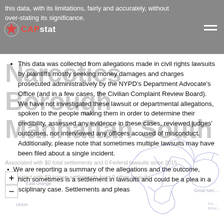this data, with its limitations, fairly and accurately, without over-stating its significance.
This data was collected from allegations made in civil rights lawsuits by plaintiffs mostly seeking money damages and charges prosecuted administratively by the NYPD's Department Advocate's Office (and in a few cases, the Civilian Complaint Review Board). We have not investigated these lawsuit or departmental allegations, spoken to the people making them in order to determine their credibility, assessed any evidence in these cases, reviewed judges' outcomes, nor interviewed any officers accused of misconduct. Additionally, please note that sometimes multiple lawsuits may have been filed about a single incident.
Narcotics Borough Manhattan South
Associated with $0 total settlements and 0 Federal lawsuits since 2015
Associated with $0 known settlements from 0 other lawsuits.
We are reporting a summary of the allegations and the outcome, which sometimes is a settlement in lawsuits and could be a plea in a disciplinary case. Settlements and pleas
[Figure (map): Map outline of New York City boroughs with district lines, shown as a blue line drawing watermark in the lower right of the page.]